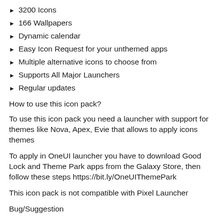3200 Icons
166 Wallpapers
Dynamic calendar
Easy Icon Request for your unthemed apps
Multiple alternative icons to choose from
Supports All Major Launchers
Regular updates
How to use this icon pack?
To use this icon pack you need a launcher with support for themes like Nova, Apex, Evie that allows to apply icons themes
To apply in OneUI launcher you have to download Good Lock and Theme Park apps from the Galaxy Store, then follow these steps https://bit.ly/OneUIThemePark
This icon pack is not compatible with Pixel Launcher
Bug/Suggestion